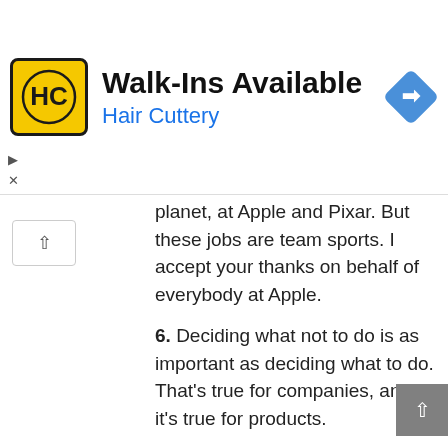[Figure (logo): Hair Cuttery ad banner with HC logo, 'Walk-Ins Available' heading, 'Hair Cuttery' subtitle in blue, and a blue navigation diamond icon on the right]
planet, at Apple and Pixar. But these jobs are team sports. I accept your thanks on behalf of everybody at Apple.
6. Deciding what not to do is as important as deciding what to do. That's true for companies, and it's true for products.
#7 STEVE JOBS' 2005 STANFORD COMMENCEMENT ADDRESS
7. Remembering that I'll be dead soon is the most important tool I've ever encountered to help me make the big choices in life. Because almost everything — all external expectations, all pride, all